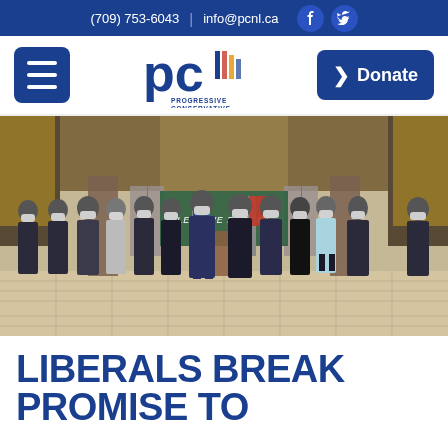(709) 753-6043  |  info@pcnl.ca
[Figure (logo): Progressive Conservative Party of Newfoundland and Labrador logo with PC emblem and maple leaf flag]
[Figure (photo): Group photo of approximately 13 people wearing masks standing in a formal government building hall with 'LEST WE FORGET' sign in background, yellow and blue flags visible]
LIBERALS BREAK PROMISE TO